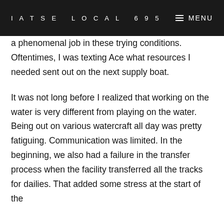IATSE LOCAL 695   MENU
a phenomenal job in these trying conditions. Oftentimes, I was texting Ace what resources I needed sent out on the next supply boat.
It was not long before I realized that working on the water is very different from playing on the water. Being out on various watercraft all day was pretty fatiguing. Communication was limited. In the beginning, we also had a failure in the transfer process when the facility transferred all the tracks for dailies. That added some stress at the start of the show. Eventually, we got it all sorted out since